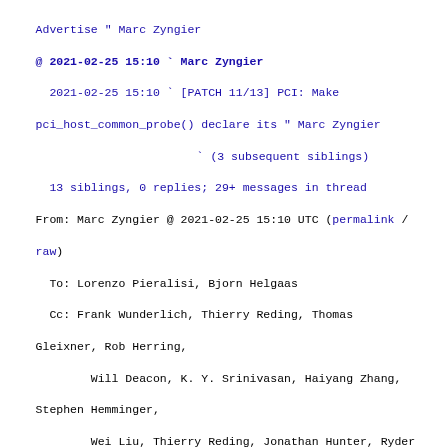Advertise " Marc Zyngier
@ 2021-02-25 15:10 ` Marc Zyngier
  2021-02-25 15:10 ` [PATCH 11/13] PCI: Make pci_host_common_probe() declare its " Marc Zyngier
              ` (3 subsequent siblings)
  13 siblings, 0 replies; 29+ messages in thread
From: Marc Zyngier @ 2021-02-25 15:10 UTC (permalink / raw)
  To: Lorenzo Pieralisi, Bjorn Helgaas
  Cc: Frank Wunderlich, Thierry Reding, Thomas Gleixner, Rob Herring,
        Will Deacon, K. Y. Srinivasan, Haiyang Zhang, Stephen Hemminger,
        Wei Liu, Thierry Reding, Jonathan Hunter, Ryder Lee, Marek Vasut,
        Yoshihiro Shimoda, Michal Simek, Paul Walmsley, linux-pci,
        linux-kernel, linux-arm-kernel, linux-hyperv, linux-tegra,
        linux-mediatek, linux-renesas-soc
The new 'no_msi' attribute solves the problem of advertising the lack
of MSI capability for host bridges that know for sure that there will
be no MSI for their end-points.
However, there is a whole class of host bridges that cannot know
whether MSIs will be provided or not, as they rely on